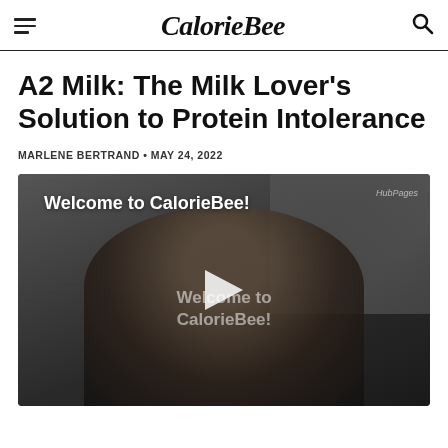CalorieBee
A2 Milk: The Milk Lover's Solution to Protein Intolerance
MARLENE BERTRAND • MAY 24, 2022
[Figure (screenshot): Video thumbnail showing a man in a dark room with text 'Welcome to CalorieBee!' overlay and a play button in the center. HubPages watermark in top right corner.]